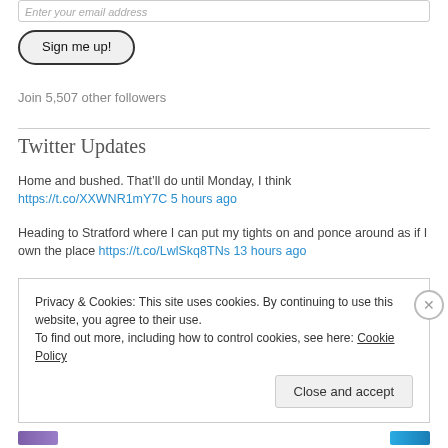Enter your email address
Sign me up!
Join 5,507 other followers
Twitter Updates
Home and bushed. That’ll do until Monday, I think https://t.co/XXWNR1mY7C 5 hours ago
Heading to Stratford where I can put my tights on and ponce around as if I own the place https://t.co/LwlSkq8TNs 13 hours ago
Privacy & Cookies: This site uses cookies. By continuing to use this website, you agree to their use.
To find out more, including how to control cookies, see here: Cookie Policy
Close and accept